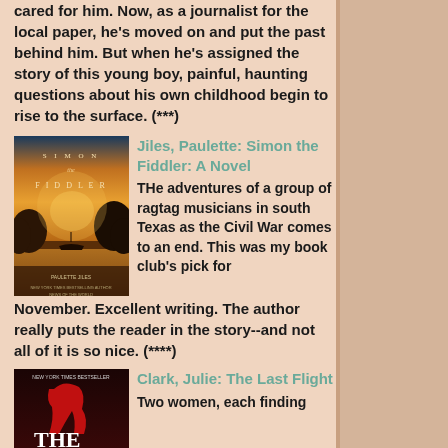cared for him. Now, as a journalist for the local paper, he's moved on and put the past behind him. But when he's assigned the story of this young boy, painful, haunting questions about his own childhood begin to rise to the surface. (***)
[Figure (photo): Book cover of Simon the Fiddler by Paulette Jiles - orange/golden sky with a river scene]
Jiles, Paulette: Simon the Fiddler: A Novel THe adventures of a group of ragtag musicians in south Texas as the Civil War comes to an end. This was my book club's pick for November. Excellent writing. The author really puts the reader in the story--and not all of it is so nice. (****)
[Figure (photo): Book cover of The Last Flight by Julie Clark - dark red cover with silhouette]
Clark, Julie: The Last Flight Two women, each finding